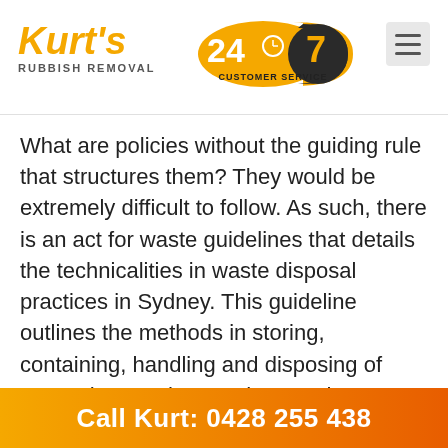[Figure (logo): Kurt's Rubbish Removal logo with orange italic text 'Kurt's' and 'RUBBISH REMOVAL' subtitle, alongside a 24/7 Customer Service badge and hamburger menu icon]
What are policies without the guiding rule that structures them? They would be extremely difficult to follow. As such, there is an act for waste guidelines that details the technicalities in waste disposal practices in Sydney. This guideline outlines the methods in storing, containing, handling and disposing of waste that you have at home. There are different methods for different kinds of waste, i.e., you can't deal with chemical waste the same way as food waste.
Call Kurt: 0428 255 438